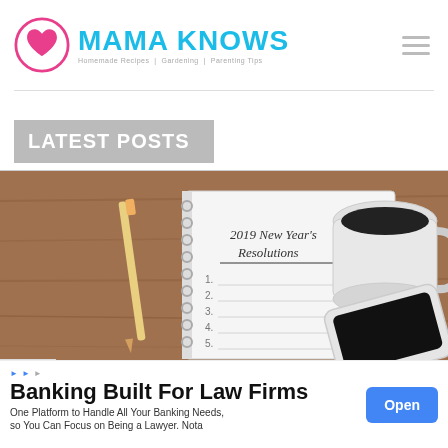MAMA KNOWS — Homemade Recipes | Gardening | Parenting Tips
LATEST POSTS
[Figure (photo): Notebook open to a page titled '2019 New Year's Resolutions' with numbered lines, a pencil on the left, a white coffee mug on the upper right, and a smartphone on the lower right, all on a wooden surface.]
FEATURED ARTICLES
Banking Built For Law Firms
One Platform to Handle All Your Banking Needs, so You Can Focus on Being a Lawyer. Nota